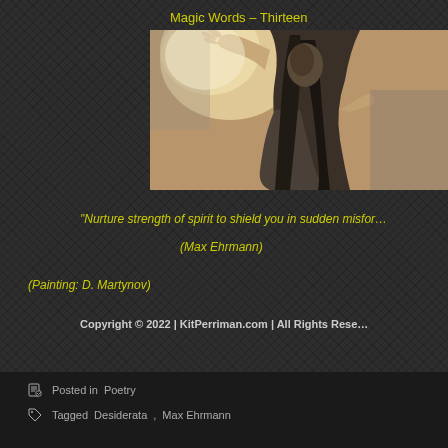Magic Words – Thirteen
[Figure (illustration): A painting showing a robed figure with long dark hair, one hand raised upward toward a bright light, in a devotional or mystical pose. Dark dramatic tones with warm golden light.]
"Nurture strength of spirit to shield you in sudden misfor…
(Max Ehrmann)
(Painting: D. Martynov)
Copyright © 2022 | KitPerriman.com | All Rights Rese…
Posted in Poetry
Tagged Desiderata, Max Ehrmann